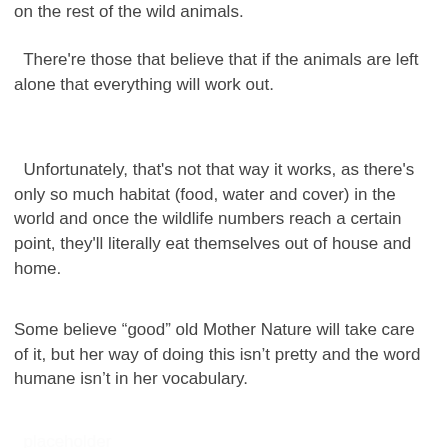on the rest of the wild animals.
There're those that believe that if the animals are left alone that everything will work out.
Unfortunately, that's not that way it works, as there's only so much habitat (food, water and cover) in the world and once the wildlife numbers reach a certain point, they'll literally eat themselves out of house and home.
Some believe “good” old Mother Nature will take care of it, but her way of doing this isn't pretty and the word humane isn't in her vocabulary.
When deer numbers get too high, she uses Blue Tongue and CWD to control the population. Blue Tongue is a disease that swells up the deer’s tongue and they die a very cruel death because they can't swallow, dying of thirst.
CWD, which the Game & Parks and DNR are keeping close tabs on, occurs when bad proteins attack the brain, causing weight loss, loss of bodily functions and